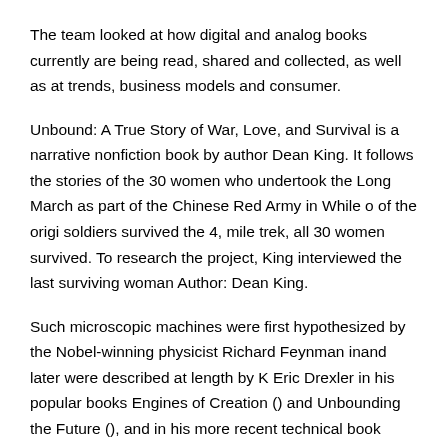The team looked at how digital and analog books currently are being read, shared and collected, as well as at trends, business models and consumer.
Unbound: A True Story of War, Love, and Survival is a narrative nonfiction book by author Dean King. It follows the stories of the 30 women who undertook the Long March as part of the Chinese Red Army in While o of the origi soldiers survived the 4, mile trek, all 30 women survived. To research the project, King interviewed the last surviving woman Author: Dean King.
Such microscopic machines were first hypothesized by the Nobel-winning physicist Richard Feynman inand later were described at length by K Eric Drexler in his popular books Engines of Creation () and Unbounding the Future (), and in his more recent technical book Nanosystems: Molecular Machinery, Manufacturing, and Computation Cited by:.
Can any one tell me, why futures contract has no value? Value of cash flow for a future in Shreve's book. 2. How to understand the market